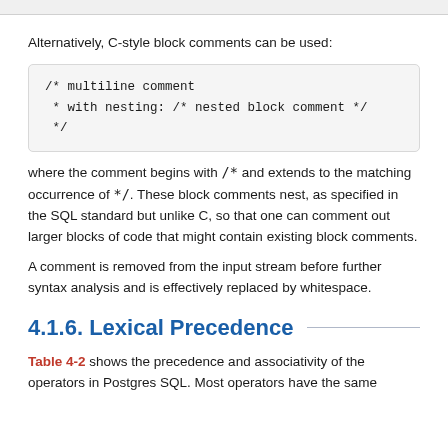Alternatively, C-style block comments can be used:
/* multiline comment
 * with nesting: /* nested block comment */
 */
where the comment begins with /* and extends to the matching occurrence of */. These block comments nest, as specified in the SQL standard but unlike C, so that one can comment out larger blocks of code that might contain existing block comments.
A comment is removed from the input stream before further syntax analysis and is effectively replaced by whitespace.
4.1.6. Lexical Precedence
Table 4-2 shows the precedence and associativity of the operators in Postgres SQL. Most operators have the same